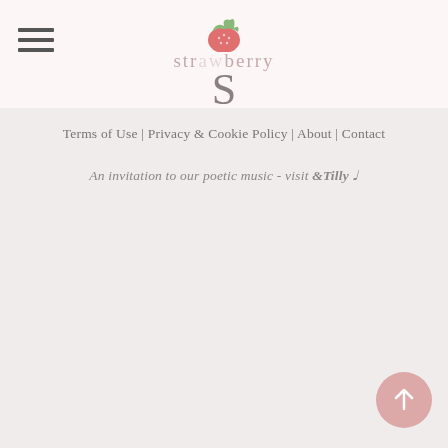strawberry
Terms of Use | Privacy & Cookie Policy | About | Contact
An invitation to our poetic music - visit &Tilly ♩
[Figure (illustration): Scroll-to-top circular button with upward arrow in pink/rose color]
[Figure (logo): Strawberry logo with stylized red strawberry icon above the letter S and 'strawberry' text in light pink]